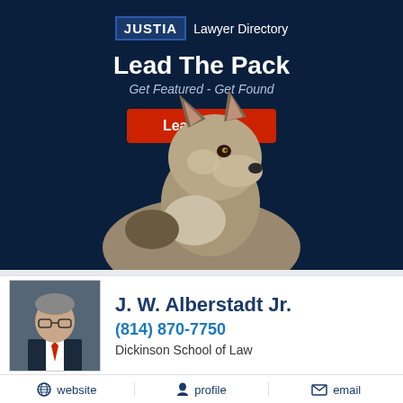[Figure (illustration): Justia Lawyer Directory advertisement banner with dark navy background, wolf image, 'Lead The Pack' headline, 'Get Featured - Get Found' subheading, and red 'Learn More' button]
J. W. Alberstadt Jr.
(814) 870-7750
Dickinson School of Law
website
profile
email